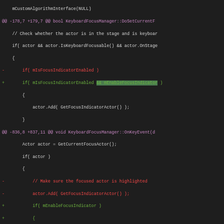[Figure (screenshot): Git diff code screenshot showing changes to KeyboardFocusManager C++ source file with removed lines in red and added lines in green on dark background]